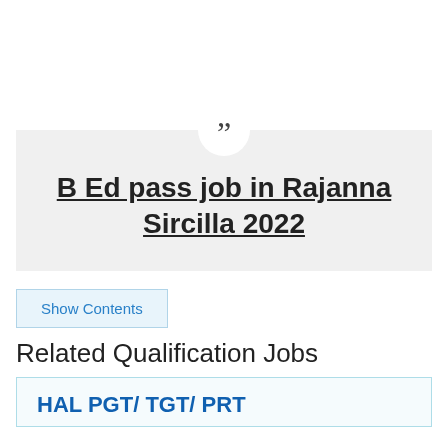B Ed pass job in Rajanna Sircilla 2022
Show Contents
Related Qualification Jobs
HAL PGT/ TGT/ PRT